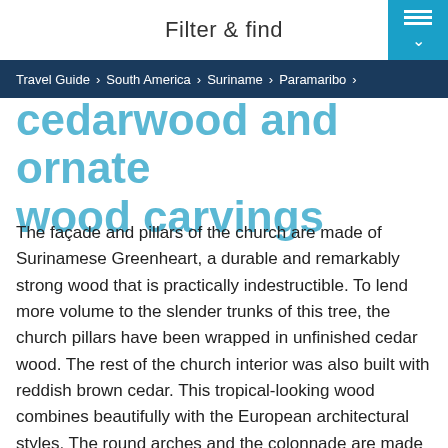Filter & find
Travel Guide › South America › Suriname › Paramaribo ›
cedarwood and ornate wood carvings
The façade and pillars of the church are made of Surinamese Greenheart, a durable and remarkably strong wood that is practically indestructible. To lend more volume to the slender trunks of this tree, the church pillars have been wrapped in unfinished cedar wood. The rest of the church interior was also built with reddish brown cedar. This tropical-looking wood combines beautifully with the European architectural styles. The round arches and the colonnade are made in a neo-Romanesque style, whereas the 2 tall church spires look neo-Gothic. The cathedral's decorative wood carvings are clearly local: the ornamental forms on the capitals and arches were carved by free